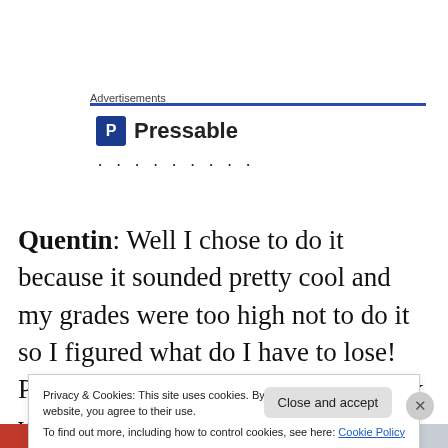Advertisements
[Figure (logo): Pressable logo with blue P icon and brand name, followed by dots]
Quentin: Well I chose to do it because it sounded pretty cool and my grades were too high not to do it so I figured what do I have to lose! Pretty much what you do is you work with a faculty member and focus on one aspect of a
Privacy & Cookies: This site uses cookies. By continuing to use this website, you agree to their use.
To find out more, including how to control cookies, see here: Cookie Policy
Close and accept